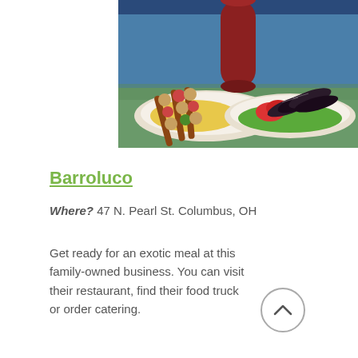[Figure (photo): Overhead photo of two plates of food — grilled kebabs on rice on the left and grilled eggplant/vegetables with tomatoes on the right, set on a glass table with a dark red cylindrical object in the center background.]
Barroluco
Where? 47 N. Pearl St. Columbus, OH
Get ready for an exotic meal at this family-owned business. You can visit their restaurant, find their food truck or order catering.